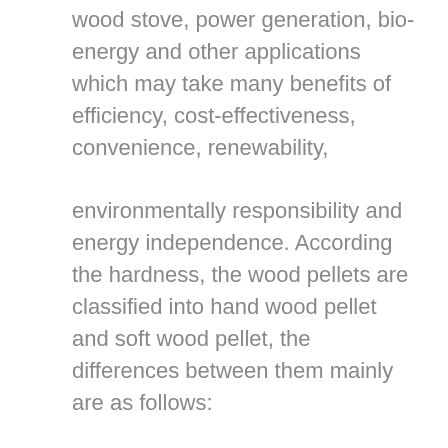wood stove, power generation, bio-energy and other applications which may take many benefits of efficiency, cost-effectiveness, convenience, renewability,

environmentally responsibility and energy independence. According the hardness, the wood pellets are classified into hand wood pellet and soft wood pellet, the differences between them mainly are as follows: